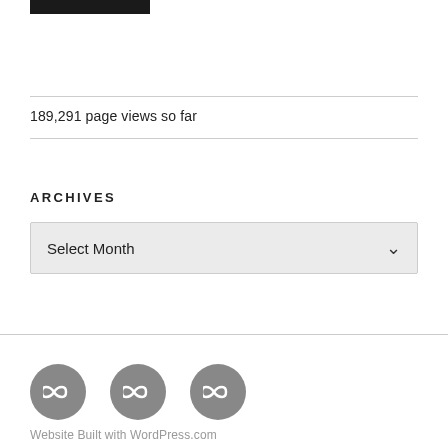[Figure (other): Black filled rectangle bar at top left]
189,291 page views so far
ARCHIVES
[Figure (other): Select Month dropdown widget with chevron arrow]
[Figure (other): Three circular grey social/link icon buttons in footer]
Website Built with WordPress.com